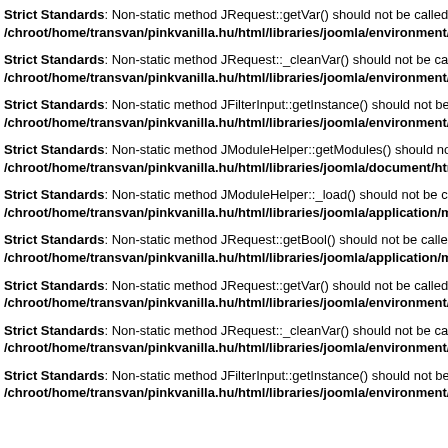Strict Standards: Non-static method JRequest::getVar() should not be called statica
/chroot/home/transvan/pinkvanilla.hu/html/libraries/joomla/environment/reques
Strict Standards: Non-static method JRequest::_cleanVar() should not be called sta
/chroot/home/transvan/pinkvanilla.hu/html/libraries/joomla/environment/reques
Strict Standards: Non-static method JFilterInput::getInstance() should not be called
/chroot/home/transvan/pinkvanilla.hu/html/libraries/joomla/environment/reques
Strict Standards: Non-static method JModuleHelper::getModules() should not be ca
/chroot/home/transvan/pinkvanilla.hu/html/libraries/joomla/document/html/htm
Strict Standards: Non-static method JModuleHelper::_load() should not be called st
/chroot/home/transvan/pinkvanilla.hu/html/libraries/joomla/application/module/
Strict Standards: Non-static method JRequest::getBool() should not be called static
/chroot/home/transvan/pinkvanilla.hu/html/libraries/joomla/application/module/
Strict Standards: Non-static method JRequest::getVar() should not be called statica
/chroot/home/transvan/pinkvanilla.hu/html/libraries/joomla/environment/reques
Strict Standards: Non-static method JRequest::_cleanVar() should not be called sta
/chroot/home/transvan/pinkvanilla.hu/html/libraries/joomla/environment/reques
Strict Standards: Non-static method JFilterInput::getInstance() should not be called
/chroot/home/transvan/pinkvanilla.hu/html/libraries/joomla/environment/reques